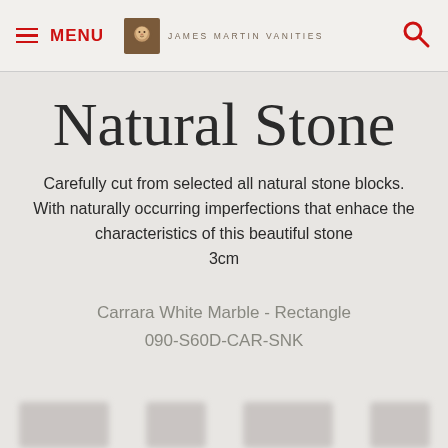MENU | JAMES MARTIN VANITIES
Natural Stone
Carefully cut from selected all natural stone blocks. With naturally occurring imperfections that enhace the characteristics of this beautiful stone
3cm
Carrara White Marble - Rectangle
090-S60D-CAR-SNK
[Figure (photo): Blurred thumbnail images of stone products at the bottom of the page]